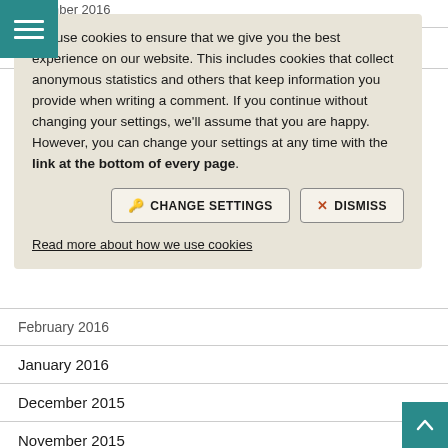November 2016
ber 2016
We use cookies to ensure that we give you the best experience on our website. This includes cookies that collect anonymous statistics and others that keep information you provide when writing a comment. If you continue without changing your settings, we'll assume that you are happy. However, you can change your settings at any time with the link at the bottom of every page.
CHANGE SETTINGS
DISMISS
Read more about how we use cookies
February 2016
January 2016
December 2015
November 2015
October 2015